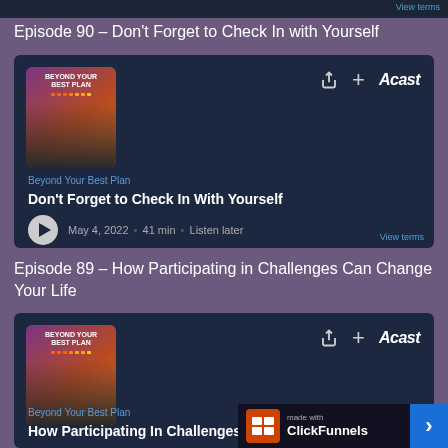[Figure (screenshot): Top of page showing dark bar with View terms link]
Episode 90 - Don't Forget to Check In with Yourself
[Figure (screenshot): Acast podcast player card for 'Don't Forget to Check In With Yourself' by Beyond Your Best Plan. May 4, 2022 • 41 min • Listen later]
Episode 89 - How Participating in Challenges Can Change Your Life
[Figure (screenshot): Acast podcast player card for 'How Participating In Challenges Ca...' by Beyond Your Best Plan]
[Figure (logo): ClickFunnels made with badge in bottom right corner]